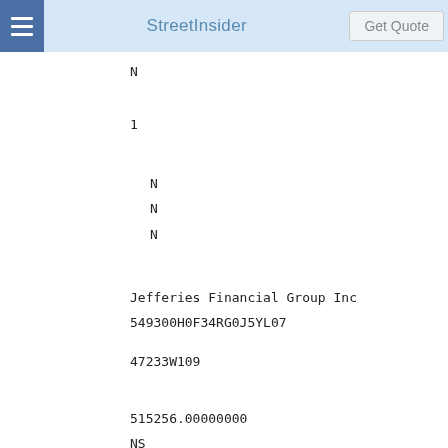StreetInsider | Get Quote
N
1
N
N
N
Jefferies Financial Group Inc
549300H0F34RG0J5YL07
47233W109
515256.00000000
NS
USD
16926159.60000000
0.527196458386
Long
EC